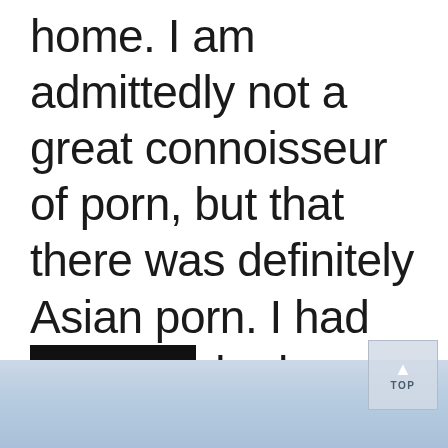home. I am admittedly not a great connoisseur of porn, but that there was definitely Asian porn. I had been hacked.
READ MORE
[Figure (illustration): Light blue gradient background at bottom of page]
TOP